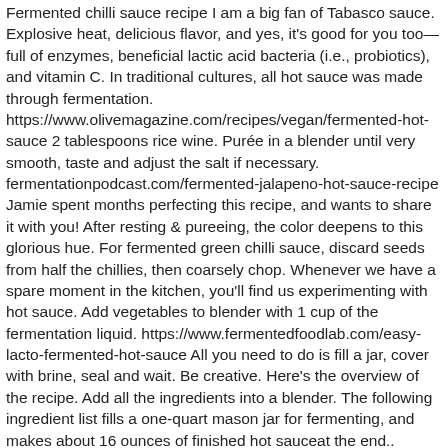Fermented chilli sauce recipe I am a big fan of Tabasco sauce. Explosive heat, delicious flavor, and yes, it's good for you too—full of enzymes, beneficial lactic acid bacteria (i.e., probiotics), and vitamin C. In traditional cultures, all hot sauce was made through fermentation. https://www.olivemagazine.com/recipes/vegan/fermented-hot-sauce 2 tablespoons rice wine. Purée in a blender until very smooth, taste and adjust the salt if necessary. fermentationpodcast.com/fermented-jalapeno-hot-sauce-recipe Jamie spent months perfecting this recipe, and wants to share it with you! After resting & pureeing, the color deepens to this glorious hue. For fermented green chilli sauce, discard seeds from half the chillies, then coarsely chop. Whenever we have a spare moment in the kitchen, you'll find us experimenting with hot sauce. Add vegetables to blender with 1 cup of the fermentation liquid. https://www.fermentedfoodlab.com/easy-lacto-fermented-hot-sauce All you need to do is fill a jar, cover with brine, seal and wait. Be creative. Here's the overview of the recipe. Add all the ingredients into a blender. The following ingredient list fills a one-quart mason jar for fermenting, and makes about 16 ounces of finished hot sauceat the end.. Preheat broiler. Purée in a blender until very smooth, taste and adjust the salt if necessary. Yes,